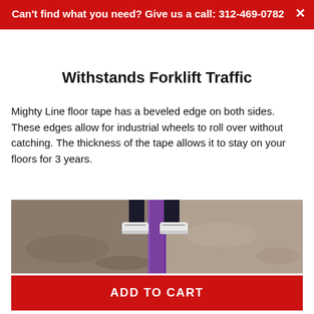Can't find what you need? Give us a call: 312-469-0782
Withstands Forklift Traffic
Mighty Line floor tape has a beveled edge on both sides. These edges allow for industrial wheels to roll over without catching. The thickness of the tape allows it to stay on your floors for 3 years.
[Figure (photo): Photo of a person standing on a concrete warehouse floor with purple Mighty Line floor tape running vertically between their feet, showing the tape on the floor surface.]
ADD TO CART